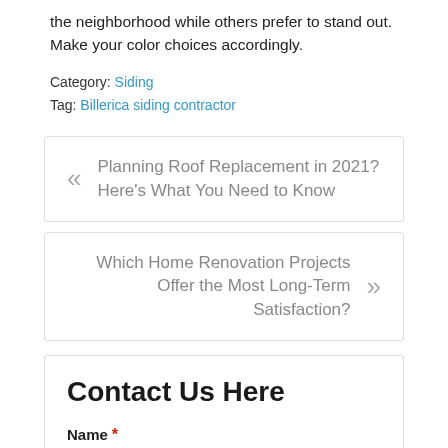the neighborhood while others prefer to stand out. Make your color choices accordingly.
Category: Siding
Tag: Billerica siding contractor
« Planning Roof Replacement in 2021? Here's What You Need to Know
Which Home Renovation Projects Offer the Most Long-Term Satisfaction? »
Contact Us Here
Name *